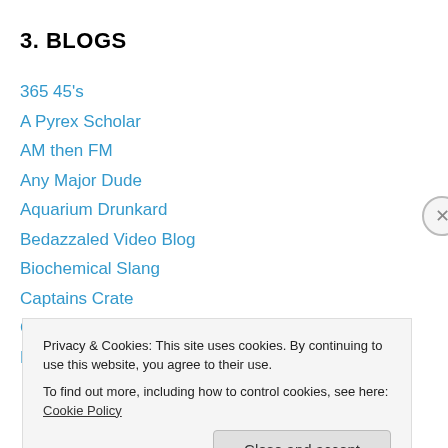3. BLOGS
365 45's
A Pyrex Scholar
AM then FM
Any Major Dude
Aquarium Drunkard
Bedazzaled Video Blog
Biochemical Slang
Captains Crate
Crud Crud
Dark End Of The Street
Privacy & Cookies: This site uses cookies. By continuing to use this website, you agree to their use.
To find out more, including how to control cookies, see here: Cookie Policy
Close and accept